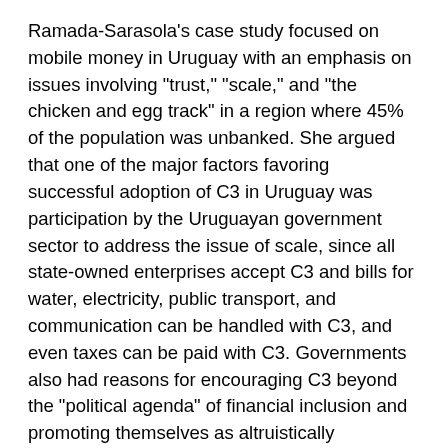Ramada-Sarasola's case study focused on mobile money in Uruguay with an emphasis on issues involving "trust," "scale," and "the chicken and egg track" in a region where 45% of the population was unbanked. She argued that one of the major factors favoring successful adoption of C3 in Uruguay was participation by the Uruguayan government sector to address the issue of scale, since all state-owned enterprises accept C3 and bills for water, electricity, public transport, and communication can be handled with C3, and even taxes can be paid with C3. Governments also had reasons for encouraging C3 beyond the "political agenda" of financial inclusion and promoting themselves as altruistically motivated, because being able to track transactions opened up opportunities to tax those transactions, although the government has promised that this new tax revenue will go to the local community that is generating them.
This C3U research focused on a sample of 28 neighborhoods around Montevideo, where penetration of mobile phones was an astonishingly high 116% and the illiteracy rate was relatively low. Furthermore there was great